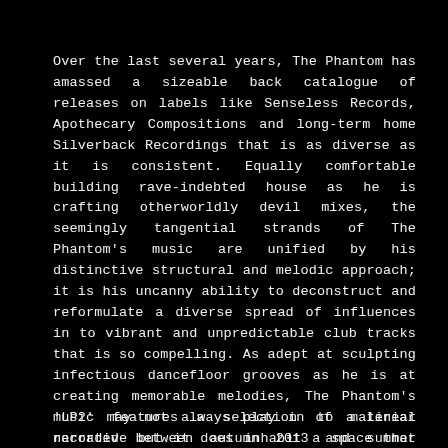Over the last several years, The Phantom has amassed a sizeable back catalogue of releases on labels like Senseless Records, Apothecary Compositions and long-term home Silverback Recordings that is as diverse as it is consistent. Equally comfortable building rave-indebted house as he is crafting otherworldly devil mixes, the seemingly tangential strands of The Phantom's music are unified by his distinctive structural and melodic approach; it is his uncanny ability to deconstruct and reformulate a diverse spread of influences in to vibrant and unpredictable club tracks that is so compelling. As adept at sculpting infectious dancefloor grooves as he is at creating memorable melodies, The Phantom's music may not always play in to a linear narrative but it does inhabit a space that is entirely its own.
'LP2' features a selection of material recorded between autumn 2013 and summer 2014, and moves away from the